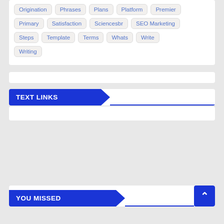Origination
Phrases
Plans
Platform
Premier
Primary
Satisfaction
Sciencesbr
SEO Marketing
Steps
Template
Terms
Whats
Write
Writing
TEXT LINKS
YOU MISSED